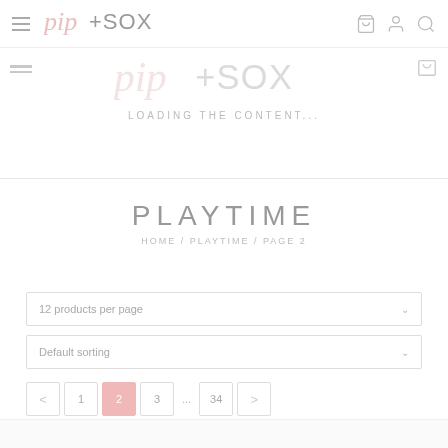pip+SOX navigation bar with hamburger menu, logo, shopping bag, account, and search icons
[Figure (screenshot): Loading banner with faded pip+SOX logo and 'LOADING THE CONTENT...' text, with hamburger menu and cart icon]
PLAYTIME
HOME / PLAYTIME / PAGE 2
12 products per page
Default sorting
< 1 2 3 ... 34 >